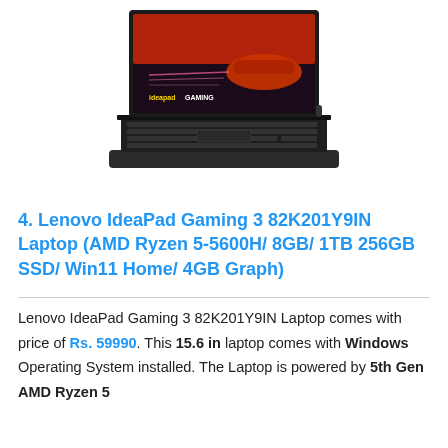[Figure (photo): Lenovo IdeaPad Gaming 3 laptop product photo showing the laptop open with a gaming car wallpaper on screen displaying 'ideapadGAMING' branding]
4. Lenovo IdeaPad Gaming 3 82K201Y9IN Laptop (AMD Ryzen 5-5600H/ 8GB/ 1TB 256GB SSD/ Win11 Home/ 4GB Graph)
Lenovo IdeaPad Gaming 3 82K201Y9IN Laptop comes with price of Rs. 59990. This 15.6 in laptop comes with Windows Operating System installed. The Laptop is powered by 5th Gen AMD Ryzen 5